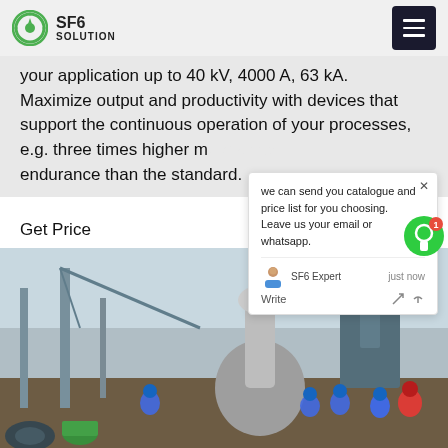SF6 SOLUTION
your application up to 40 kV, 4000 A, 63 kA. Maximize output and productivity with devices that support the continuous operation of your processes, e.g. three times higher mechanical endurance than the standard.
Get Price
we can send you catalogue and price list for you choosing.
Leave us your email or whatsapp.

SF6 Expert    just now
Write
[Figure (photo): Workers in blue hard hats standing around large industrial electrical equipment on a substation site with cranes and transformers in background]